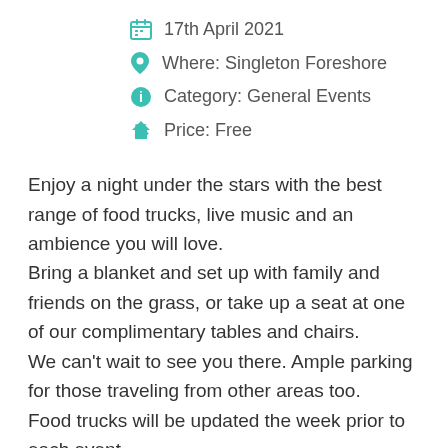17th April 2021
Where: Singleton Foreshore
Category: General Events
Price: Free
Enjoy a night under the stars with the best range of food trucks, live music and an ambience you will love. Bring a blanket and set up with family and friends on the grass, or take up a seat at one of our complimentary tables and chairs. We can't wait to see you there. Ample parking for those traveling from other areas too. Food trucks will be updated the week prior to each event. Food truck and music details will be provided in the event discussion.